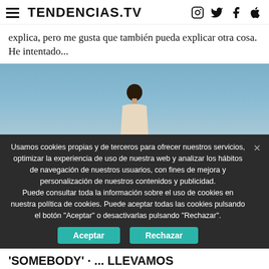TENDENCIAS.TV
explica, pero me gusta que también pueda explicar otra cosa. He intentado...
[Figure (photo): Person standing against a blue sky background, partially visible]
Usamos cookies propias y de terceros para ofrecer nuestros servicios, optimizar la experiencia de uso de nuestra web y analizar los hábitos de navegación de nuestros usuarios, con fines de mejora y personalización de nuestros contenidos y publicidad. Puede consultar toda la información sobre el uso de cookies en nuestra política de cookies. Puede aceptar todas las cookies pulsando el botón "Aceptar" o desactivarlas pulsando "Rechazar".
'SOMEBODY' · ... LLEVAMOS DENTRO